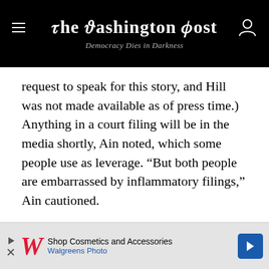The Washington Post
Democracy Dies in Darkness
request to speak for this story, and Hill was not made available as of press time.) Anything in a court filing will be in the media shortly, Ain noted, which some people use as leverage. “But both people are embarrassed by inflammatory filings,” Ain cautioned.
[Figure (other): Walgreens advertisement banner: Shop Cosmetics and Accessories, Walgreens Photo]